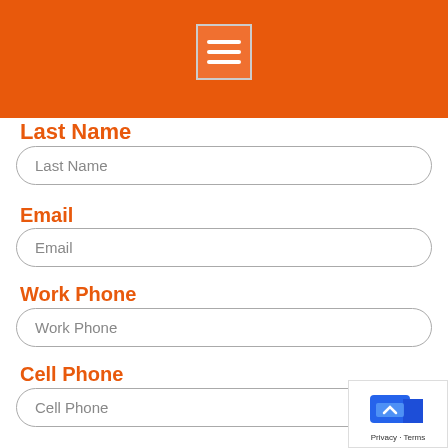[Figure (screenshot): Orange header bar with hamburger menu icon (three white horizontal lines on orange square background)]
Last Name
Last Name (input field placeholder)
Email
Email (input field placeholder)
Work Phone
Work Phone (input field placeholder)
Cell Phone
Cell Phone (input field placeholder)
Profession?
Select: (dropdown placeholder)
[Figure (screenshot): Privacy badge bottom right with blue icon and Privacy - Terms text]